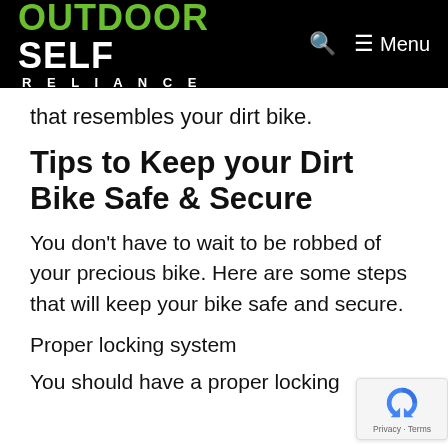OUTDOOR SELF RELIANCE
that resembles your dirt bike.
Tips to Keep your Dirt Bike Safe & Secure
You don't have to wait to be robbed of your precious bike. Here are some steps that will keep your bike safe and secure.
Proper locking system
You should have a proper locking